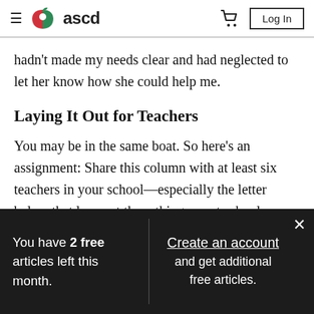ascd — hamburger menu, logo, cart, Log In button
hadn't made my needs clear and had neglected to let her know how she could help me.
Laying It Out for Teachers
You may be in the same boat. So here's an assignment: Share this column with at least six teachers in your school—especially the letter below that lays out three things most school
You have 2 free articles left this month.
Create an account and get additional free articles.